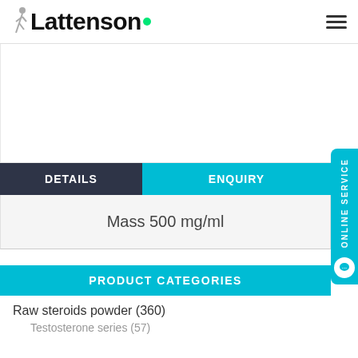Lattenson
[Figure (other): White empty image placeholder area]
DETAILS | ENQUIRY
Mass 500 mg/ml
PRODUCT CATEGORIES
Raw steroids powder (360)
Testosterone series (57)
ONLINE SERVICE